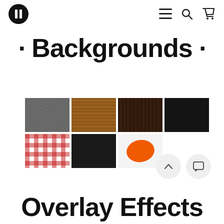Navigation bar with logo, menu, search, and cart icons
· Backgrounds ·
[Figure (illustration): Grid of 7 background texture thumbnails: grey slate, light wood, dark wood, black leather in top row; red gingham, black solid, white with orange oval in bottom row]
Overlay Effects